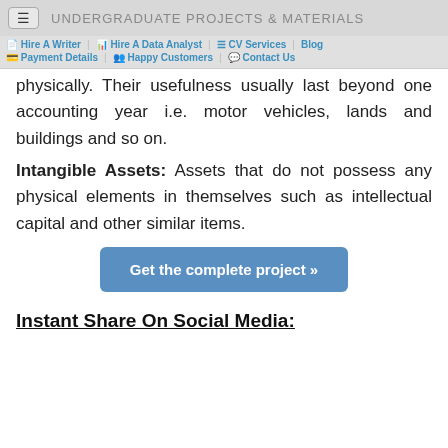UNDERGRADUATE PROJECTS & MATERIALS
Hire A Writer | Hire A Data Analyst | CV Services | Blog | Payment Details | Happy Customers | Contact Us
physically. Their usefulness usually last beyond one accounting year i.e. motor vehicles, lands and buildings and so on.
Intangible Assets: Assets that do not possess any physical elements in themselves such as intellectual capital and other similar items.
[Figure (other): Blue button: Get the complete project »]
Instant Share On Social Media: